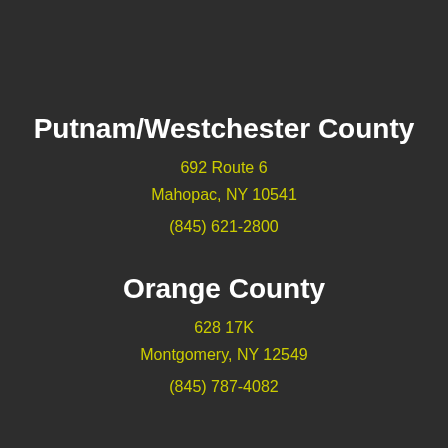Putnam/Westchester County
692 Route 6
Mahopac, NY 10541
(845) 621-2800
Orange County
628 17K
Montgomery, NY 12549
(845) 787-4082